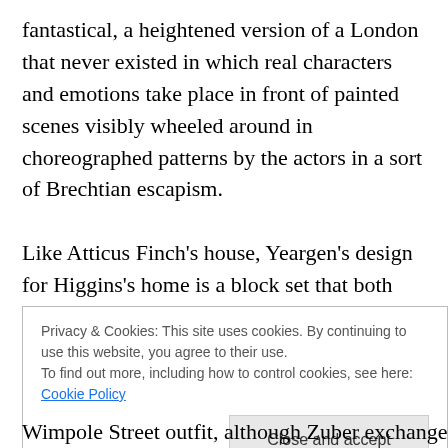fantastical, a heightened version of a London that never existed in which real characters and emotions take place in front of painted scenes visibly wheeled around in choreographed patterns by the actors in a sort of Brechtian escapism.

Like Atticus Finch's house, Yeargen's design for Higgins's home is a block set that both moves in from the back of stage and has the capacity to rotate, giving a multi-room view of his Victorian townhouse that includes the Study / Library with spiral staircase and the hallway where Eliza
Privacy & Cookies: This site uses cookies. By continuing to use this website, you agree to their use.
To find out more, including how to control cookies, see here: Cookie Policy

[Close and accept]
Wimpole Street outfit, although Zuber exchanges the dow